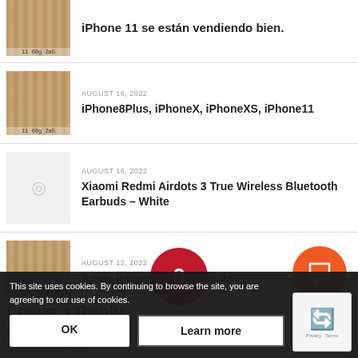iPhone 11 se están vendiendo bien.
AUGUST 16, 2022 — iPhone8Plus, iPhoneX, iPhoneXS, iPhone11
AUGUST 16, 2022 — Xiaomi Redmi Airdots 3 True Wireless Bluetooth Earbuds – White
AUGUST 12, 2022 — Apple iPhone serie grado A+
[Figure (infographic): Red circle with '0' and label 'REPLIES' below, orange FAB button to the right]
0 REPLIES
Leave a Reply
Want to join the discussion? Feel free to contribute!
This site uses cookies. By continuing to browse the site, you are agreeing to our use of cookies.